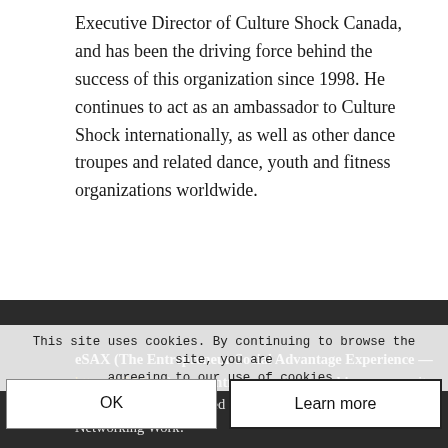Executive Director of Culture Shock Canada, and has been the driving force behind the success of this organization since 1998. He continues to act as an ambassador to Culture Shock internationally, as well as other dance troupes and related dance, youth and fitness organizations worldwide.
Subscribe to the eSAX YouTube channel for more entrepreneur networking tips and connect with us on social media! Twitter (#eSAX) / Facebook / Instagram / LinkedIn
eSAX (The Entrepreneur Social Advantage Experience — https://eSAX.ca) is an entrepreneur networking community for small business located in Ottawa, Ontario #eSAX Makes Networking Work!
This site uses cookies. By continuing to browse the site, you are agreeing to our use of cookies.